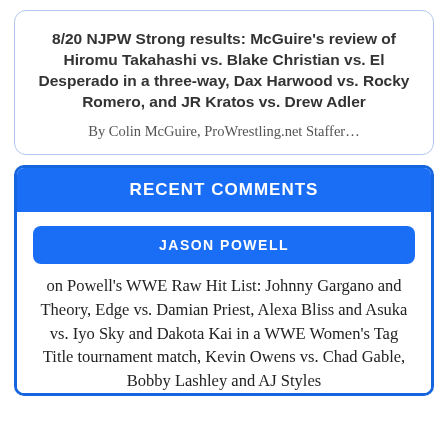8/20 NJPW Strong results: McGuire's review of Hiromu Takahashi vs. Blake Christian vs. El Desperado in a three-way, Dax Harwood vs. Rocky Romero, and JR Kratos vs. Drew Adler
By Colin McGuire, ProWrestling.net Staffer...
RECENT COMMENTS
JASON POWELL
on Powell's WWE Raw Hit List: Johnny Gargano and Theory, Edge vs. Damian Priest, Alexa Bliss and Asuka vs. Iyo Sky and Dakota Kai in a WWE Women's Tag Title tournament match, Kevin Owens vs. Chad Gable, Bobby Lashley and AJ Styles vs. The Miz and Ciampa